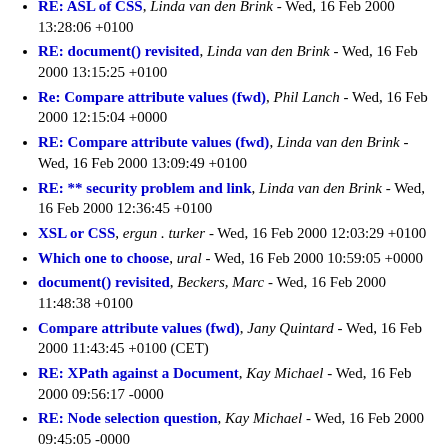RE: ASL of CSS, Linda van den Brink - Wed, 16 Feb 2000 13:28:06 +0100
RE: document() revisited, Linda van den Brink - Wed, 16 Feb 2000 13:15:25 +0100
Re: Compare attribute values (fwd), Phil Lanch - Wed, 16 Feb 2000 12:15:04 +0000
RE: Compare attribute values (fwd), Linda van den Brink - Wed, 16 Feb 2000 13:09:49 +0100
RE: ** security problem and link, Linda van den Brink - Wed, 16 Feb 2000 12:36:45 +0100
XSL or CSS, ergun . turker - Wed, 16 Feb 2000 12:03:29 +0100
Which one to choose, ural - Wed, 16 Feb 2000 10:59:05 +0000
document() revisited, Beckers, Marc - Wed, 16 Feb 2000 11:48:38 +0100
Compare attribute values (fwd), Jany Quintard - Wed, 16 Feb 2000 11:43:45 +0100 (CET)
RE: XPath against a Document, Kay Michael - Wed, 16 Feb 2000 09:56:17 -0000
RE: Node selection question, Kay Michael - Wed, 16 Feb 2000 09:45:05 -0000
RE: ** security problem and link, Kay Michael - Wed, 16 Feb 2000 09:36:12 -0000
RE: Which one to choose, Ben Robb - Wed, 16 Feb 2000 09:33:30 -0000